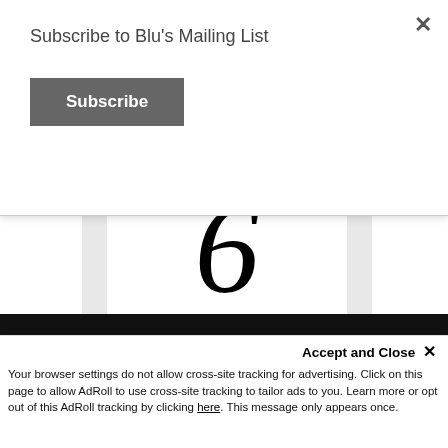Subscribe to Blu's Mailing List
Subscribe
[Figure (other): A card or image displaying the large italic numeral '6' in serif font on a white background with a light gray border/frame.]
Accept and Close ×
Your browser settings do not allow cross-site tracking for advertising. Click on this page to allow AdRoll to use cross-site tracking to tailor ads to you. Learn more or opt out of this AdRoll tracking by clicking here. This message only appears once.